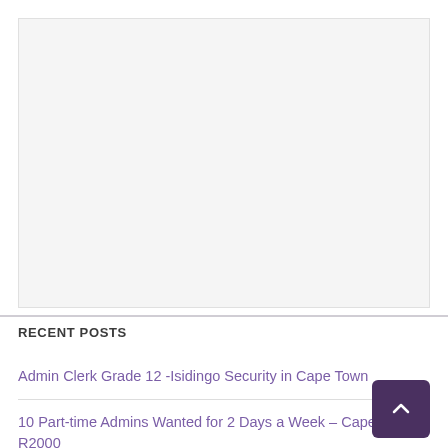[Figure (other): Light gray rectangular area, likely an advertisement or image placeholder]
RECENT POSTS
Admin Clerk Grade 12 -Isidingo Security in Cape Town
10 Part-time Admins Wanted for 2 Days a Week – Cape T… R2000